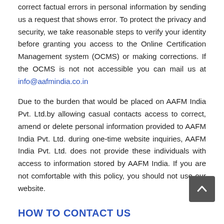correct factual errors in personal information by sending us a request that shows error. To protect the privacy and security, we take reasonable steps to verify your identity before granting you access to the Online Certification Management system (OCMS) or making corrections. If the OCMS is not not accessible you can mail us at info@aafmindia.co.in
Due to the burden that would be placed on AAFM India Pvt. Ltd.by allowing casual contacts access to correct, amend or delete personal information provided to AAFM India Pvt. Ltd. during one-time website inquiries, AAFM India Pvt. Ltd. does not provide these individuals with access to information stored by AAFM India. If you are not comfortable with this policy, you should not use our website.
HOW TO CONTACT US